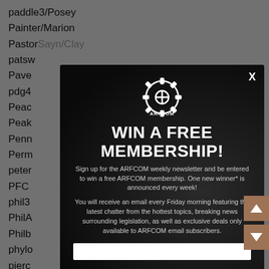paddle3/Posey
Painter/Marion
PastorSayn/Clay
patsw...
Pave...
pdg4...
Peac...
Peak...
Penn...
Perm...
peter...
PFC...
phil3...
PhilA...
Philb...
phylo...
pierc...
pink-...
pinpo...
PKen...
pluca...
PML...
POB...
polic...
[Figure (infographic): ARFCOM modal popup with gear logo, WIN A FREE MEMBERSHIP headline, newsletter signup description text, and email input field on dark background]
WIN A FREE MEMBERSHIP!
Sign up for the ARFCOM weekly newsletter and be entered to win a free ARFCOM membership. One new winner* is announced every week!
You will receive an email every Friday morning featuring the latest chatter from the hottest topics, breaking news surrounding legislation, as well as exclusive deals only available to ARFCOM email subscribers.